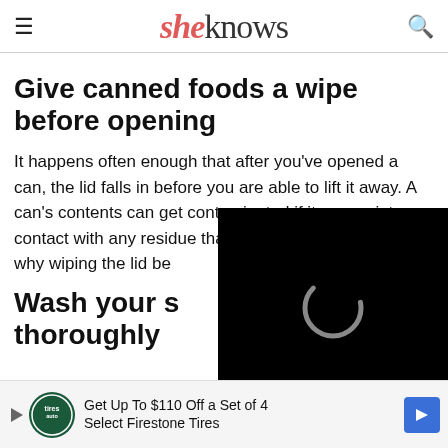sheknows
Give canned foods a wipe before opening
It happens often enough that after you've opened a can, the lid falls in before you are able to lift it away. A can's contents can get contaminated if it comes into contact with any residue that may be on the lid. This is why wiping the lid be necessary.
[Figure (screenshot): Video player overlay showing loading spinner and 'Loading ad' text with playback controls (pause, fullscreen, mute) on black background]
Wash your s thoroughly
[Figure (screenshot): Advertisement banner: 'Get Up To $110 Off a Set of 4 Select Firestone Tires' with Firestone auto logo and blue arrow button]